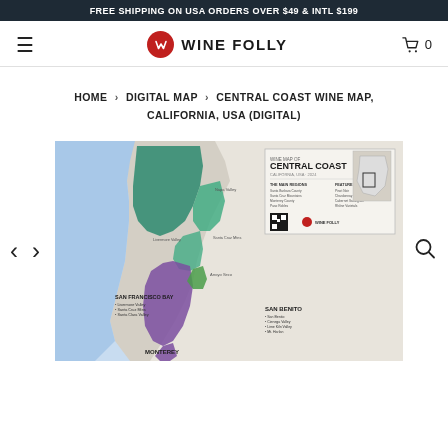FREE SHIPPING ON USA ORDERS OVER $49 & INTL $199
WINE FOLLY
HOME > DIGITAL MAP > CENTRAL COAST WINE MAP, CALIFORNIA, USA (DIGITAL)
[Figure (map): Central Coast Wine Map, California, USA — shows wine regions along the California coast including San Francisco Bay, Monterey, and San Benito areas, with colored AVA regions overlaid on a geographic map.]